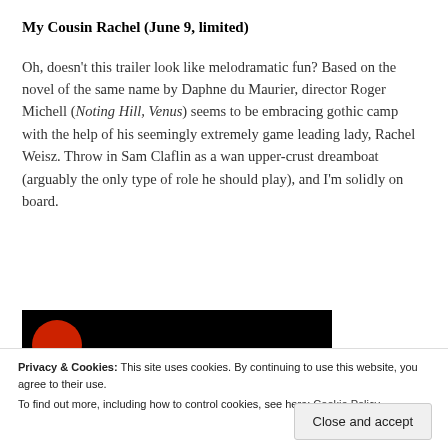My Cousin Rachel (June 9, limited)
Oh, doesn't this trailer look like melodramatic fun? Based on the novel of the same name by Daphne du Maurier, director Roger Michell (Noting Hill, Venus) seems to be embracing gothic camp with the help of his seemingly extremely game leading lady, Rachel Weisz. Throw in Sam Claflin as a wan upper-crust dreamboat (arguably the only type of role he should play), and I'm solidly on board.
[Figure (screenshot): Black background video thumbnail with a red circle visible in the upper left area]
Privacy & Cookies: This site uses cookies. By continuing to use this website, you agree to their use.
To find out more, including how to control cookies, see here: Cookie Policy
Close and accept